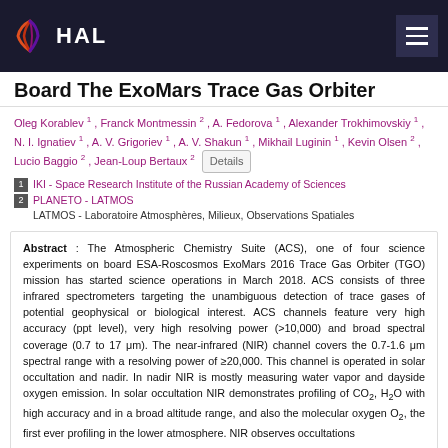HAL
Board The ExoMars Trace Gas Orbiter
Oleg Korablev 1 , Franck Montmessin 2 , A. Fedorova 1 , Alexander Trokhimovskiy 1 , N. I. Ignatiev 1 , A. V. Grigoriev 1 , A. V. Shakun 1 , Mikhail Luginin 1 , Kevin Olsen 2 , Lucio Baggio 2 , Jean-Loup Bertaux 2
1 IKI - Space Research Institute of the Russian Academy of Sciences
2 PLANETO - LATMOS
LATMOS - Laboratoire Atmosphères, Milieux, Observations Spatiales
Abstract : The Atmospheric Chemistry Suite (ACS), one of four science experiments on board ESA-Roscosmos ExoMars 2016 Trace Gas Orbiter (TGO) mission has started science operations in March 2018. ACS consists of three infrared spectrometers targeting the unambiguous detection of trace gases of potential geophysical or biological interest. ACS channels feature very high accuracy (ppt level), very high resolving power (>10,000) and broad spectral coverage (0.7 to 17 μm). The near-infrared (NIR) channel covers the 0.7-1.6 μm spectral range with a resolving power of ≥20,000. This channel is operated in solar occultation and nadir. In nadir NIR is mostly measuring water vapor and dayside oxygen emission. In solar occultation NIR demonstrates profiling of CO2, H2O with high accuracy and in a broad altitude range, and also the molecular oxygen O2, the first ever profiling in the lower atmosphere. NIR observes occultations